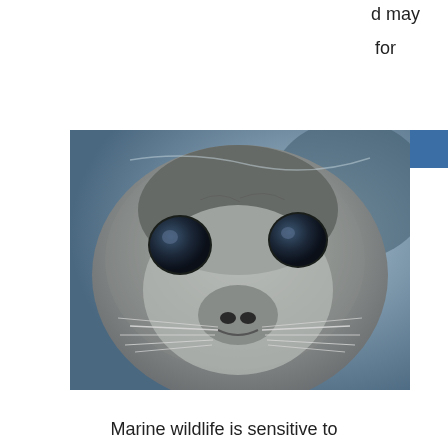d may
for
[Figure (photo): Close-up photograph of a seal's face, looking directly at the camera with large dark eyes and visible whiskers, against a blurred blue-grey background.]
Marine wildlife is sensitive to